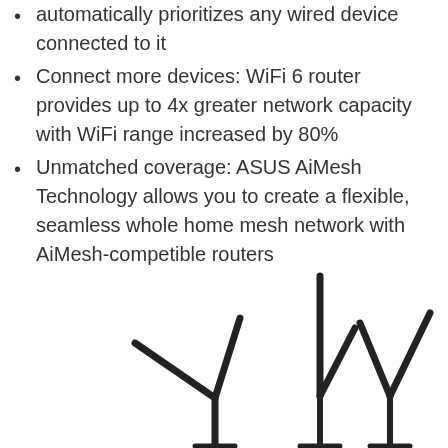automatically prioritizes any wired device connected to it
Connect more devices: WiFi 6 router provides up to 4x greater network capacity with WiFi range increased by 80%
Unmatched coverage: ASUS AiMesh Technology allows you to create a flexible, seamless whole home mesh network with AiMesh-competible routers
[Figure (photo): Three ASUS router antennas shown side by side, each antenna pair forming a V-shape or straight vertical configuration, dark/black colored against white background]